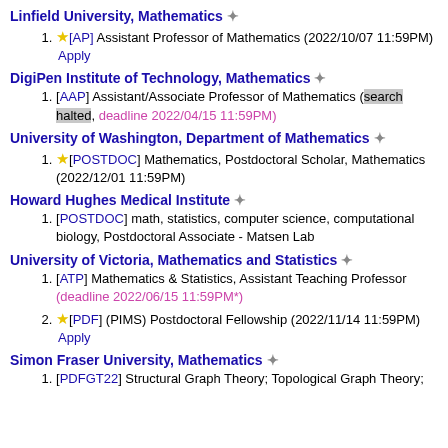Linfield University, Mathematics ✦
⭐[AP] Assistant Professor of Mathematics (2022/10/07 11:59PM) Apply
DigiPen Institute of Technology, Mathematics ✦
[AAP] Assistant/Associate Professor of Mathematics (search halted, deadline 2022/04/15 11:59PM)
University of Washington, Department of Mathematics ✦
⭐[POSTDOC] Mathematics, Postdoctoral Scholar, Mathematics (2022/12/01 11:59PM)
Howard Hughes Medical Institute ✦
[POSTDOC] math, statistics, computer science, computational biology, Postdoctoral Associate - Matsen Lab
University of Victoria, Mathematics and Statistics ✦
[ATP] Mathematics & Statistics, Assistant Teaching Professor (deadline 2022/06/15 11:59PM*)
⭐[PDF] (PIMS) Postdoctoral Fellowship (2022/11/14 11:59PM) Apply
Simon Fraser University, Mathematics ✦
[PDFGT22] Structural Graph Theory; Topological Graph Theory;